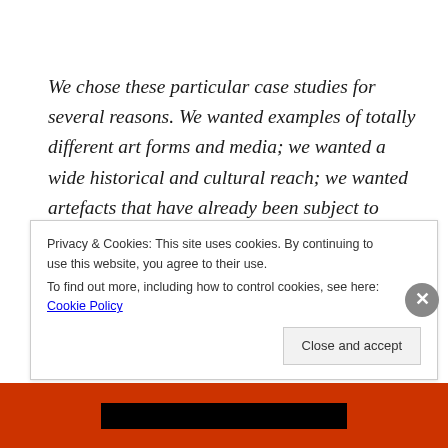We chose these particular case studies for several reasons. We wanted examples of totally different art forms and media; we wanted a wide historical and cultural reach; we wanted artefacts that have already been subject to extensive debate (part of the interest is in the nature of those debates); and we wanted examples that might usefully reveal different aspects of
Privacy & Cookies: This site uses cookies. By continuing to use this website, you agree to their use.
To find out more, including how to control cookies, see here: Cookie Policy
Close and accept